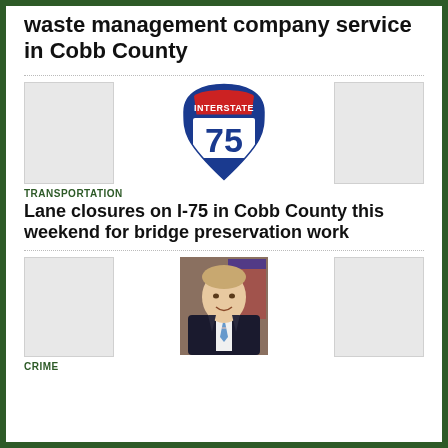waste management company service in Cobb County
[Figure (illustration): Three-image article row: two gray placeholder thumbnails on left and right, and an Interstate 75 highway shield sign in the center]
TRANSPORTATION
Lane closures on I-75 in Cobb County this weekend for bridge preservation work
[Figure (photo): Three-image article row: two gray placeholder thumbnails on left and right, and a photo of a man in a suit smiling in the center]
CRIME